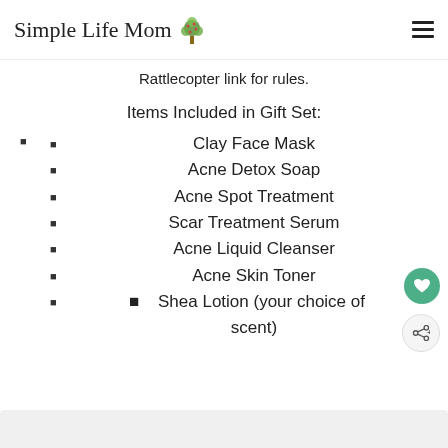Simple Life Mom
Rattlecopter link for rules.
Items Included in Gift Set:
Clay Face Mask
Acne Detox Soap
Acne Spot Treatment
Scar Treatment Serum
Acne Liquid Cleanser
Acne Skin Toner
Shea Lotion (your choice of scent)